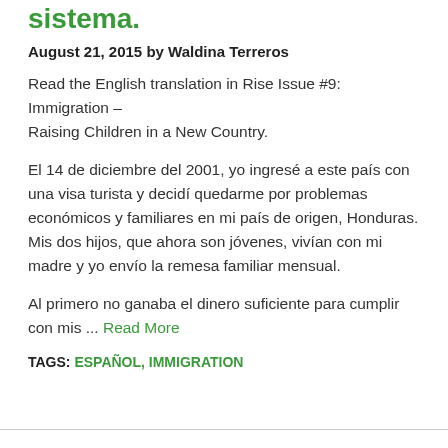sistema.
August 21, 2015 by Waldina Terreros
Read the English translation in Rise Issue #9: Immigration – Raising Children in a New Country.
El 14 de diciembre del 2001, yo ingresé a este país con una visa turista y decidí quedarme por problemas económicos y familiares en mi país de origen, Honduras. Mis dos hijos, que ahora son jóvenes, vivían con mi madre y yo envío la remesa familiar mensual.
Al primero no ganaba el dinero suficiente para cumplir con mis ... Read More
TAGS: ESPAÑOL, IMMIGRATION